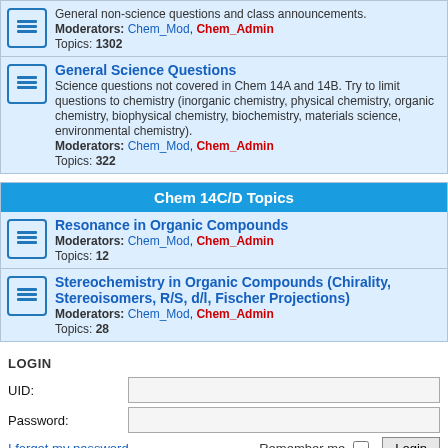General non-science questions and class announcements. Moderators: Chem_Mod, Chem_Admin. Topics: 1302
General Science Questions
Science questions not covered in Chem 14A and 14B. Try to limit questions to chemistry (inorganic chemistry, physical chemistry, organic chemistry, biophysical chemistry, biochemistry, materials science, environmental chemistry). Moderators: Chem_Mod, Chem_Admin. Topics: 322
Chem 14C/D Topics
Resonance in Organic Compounds. Moderators: Chem_Mod, Chem_Admin. Topics: 12
Stereochemistry in Organic Compounds (Chirality, Stereoisomers, R/S, d/l, Fischer Projections). Moderators: Chem_Mod, Chem_Admin. Topics: 28
LOGIN
UID:
Password:
I forgot my password
Remember me
WHO IS ONLINE
In total there are 54 users online :: 1 registered, 0 hidden and 53 guests (based on users active over the past 5 minutes)